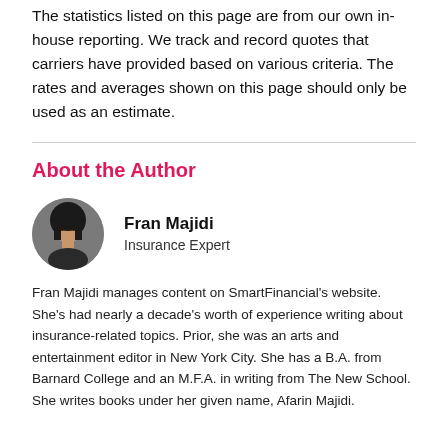The statistics listed on this page are from our own in-house reporting. We track and record quotes that carriers have provided based on various criteria. The rates and averages shown on this page should only be used as an estimate.
About the Author
Fran Majidi
Insurance Expert
Fran Majidi manages content on SmartFinancial's website. She's had nearly a decade's worth of experience writing about insurance-related topics. Prior, she was an arts and entertainment editor in New York City. She has a B.A. from Barnard College and an M.F.A. in writing from The New School. She writes books under her given name, Afarin Majidi.